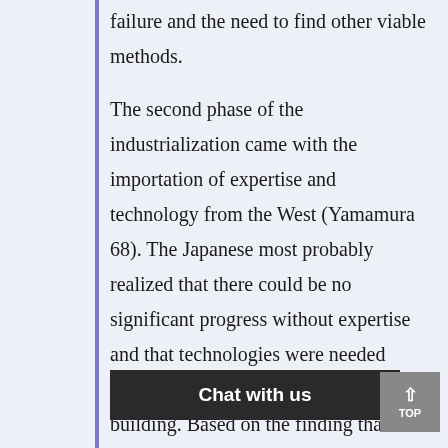failure and the need to find other viable methods.
The second phase of the industrialization came with the importation of expertise and technology from the West (Yamamura 68). The Japanese most probably realized that there could be no significant progress without expertise and that technologies were needed even in iron making and in ship building. Based on the finding that th